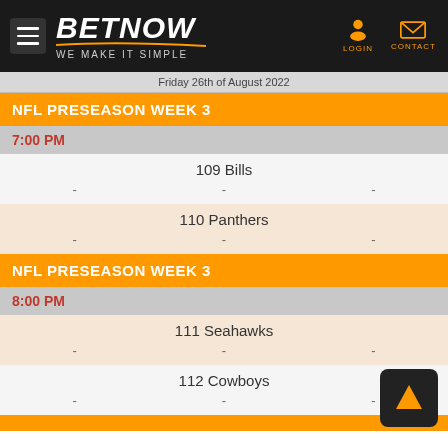BETNOW - WE MAKE IT SIMPLE
Friday 26th of August 2022
NFL PRESEASON WEEK 3
7:00 PM
109 Bills
- - -
110 Panthers
- - -
NFL PRESEASON WEEK 3
8:00 PM
111 Seahawks
- - -
112 Cowboys
- - -